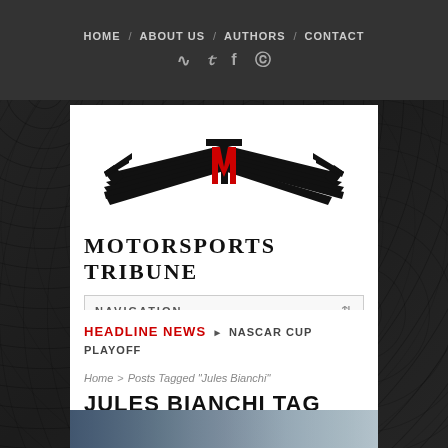HOME / ABOUT US / AUTHORS / CONTACT
[Figure (logo): Motorsports Tribune logo with winged M emblem and text 'Motorsports Tribune']
NAVIGATION
HEADLINE NEWS ▶ NASCAR CUP PLAYOFF
Home > Posts Tagged "Jules Bianchi"
JULES BIANCHI TAG
[Figure (photo): Partial view of racing scene / motorsports image at bottom]